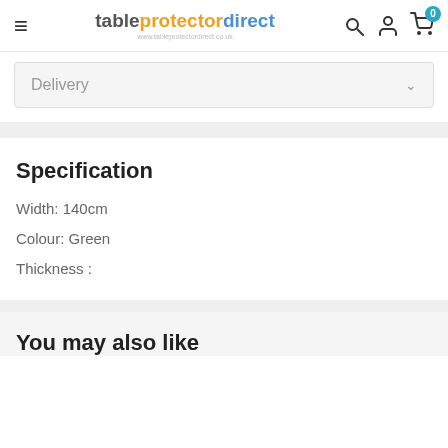tableprotectordirect — www.tableprotectordirect.co.uk
Delivery
Specification
Width: 140cm
Colour: Green
Thickness :
You may also like